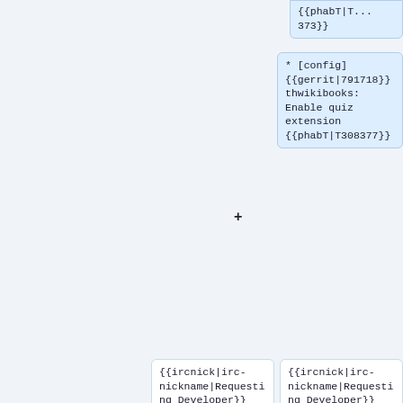{{phabT|T...
373}}
* [config] {{gerrit|791718}} thwikibooks: Enable quiz extension {{phabT|T308377}}
{{ircnick|irc-nickname|Requesting Developer}}
{{ircnick|irc-nickname|Requesting Developer}}
* ''Gerrit link to backport or config
* ''Gerrit link to backport or config